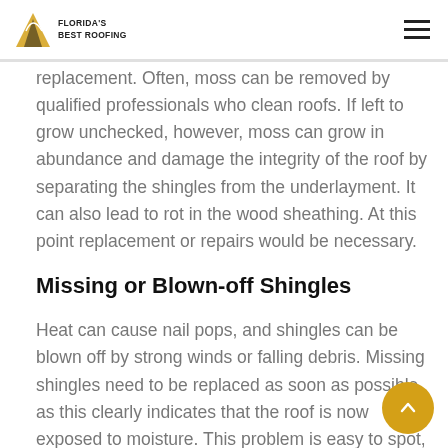Florida's Best Roofing
replacement. Often, moss can be removed by qualified professionals who clean roofs. If left to grow unchecked, however, moss can grow in abundance and damage the integrity of the roof by separating the shingles from the underlayment. It can also lead to rot in the wood sheathing. At this point replacement or repairs would be necessary.
Missing or Blown-off Shingles
Heat can cause nail pops, and shingles can be blown off by strong winds or falling debris. Missing shingles need to be replaced as soon as possible, as this clearly indicates that the roof is now exposed to moisture. This problem is easy to spot, as the areas of